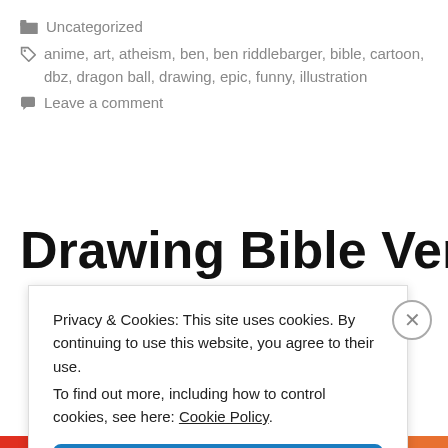Uncategorized
anime, art, atheism, ben, ben riddlebarger, bible, cartoon, dbz, dragon ball, drawing, epic, funny, illustration
Leave a comment
Drawing Bible Verses- The
Privacy & Cookies: This site uses cookies. By continuing to use this website, you agree to their use. To find out more, including how to control cookies, see here: Cookie Policy
Close and accept